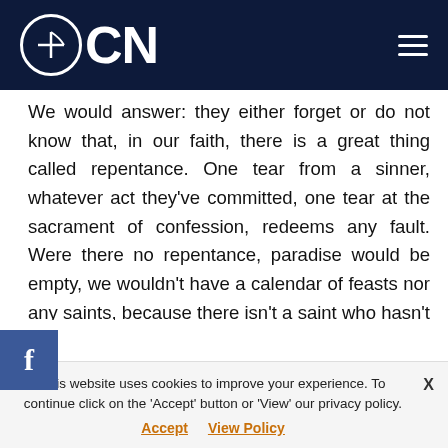OCN
We would answer: they either forget or do not know that, in our faith, there is a great thing called repentance. One tear from a sinner, whatever act they've committed, one tear at the sacrament of confession, redeems any fault. Were there no repentance, paradise would be empty, we wouldn't have a calendar of feasts nor any saints, because there isn't a saint who hasn't cried and hasn't repented sins. There's no other way to Paradise, beloved, than the door of repentance. Constantine wasn't born a saint, he became one. He made mistakes, but he repented. Let's not forget that he was brought up in the inhuman surroundings of the
This website uses cookies to improve your experience. To continue click on the 'Accept' button or 'View' our privacy policy.